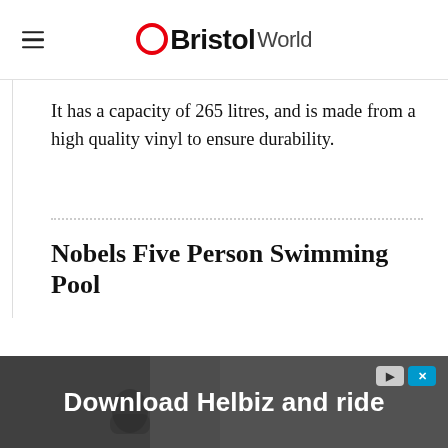OBristol World
It has a capacity of 265 litres, and is made from a high quality vinyl to ensure durability.
Nobels Five Person Swimming Pool
[Figure (photo): Advertisement banner: Download Helbiz and ride, showing a person on a scooter/bike in an urban setting]